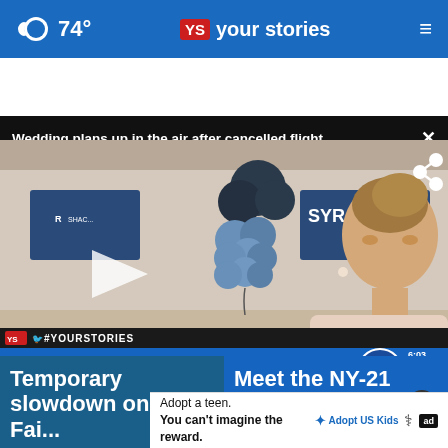74° | YS your stories
Wedding plans up in the air after cancelled flight
[Figure (screenshot): Video screenshot of woman being interviewed at Syracuse airport with blue balloons in background. Lower thirds show 'BREEZE AIRWAYS OFF TO ROUGH START IN SYRACUSE' chyron on blue band. Channel 9 ABC logo with 6:03 and 78° time/temp display.]
BREEZE AIRWAYS OFF TO ROUGH START IN SYRACUSE
Temporary slowdown on 690 Fai...
Meet the NY-21 congressional...
Adopt a teen. You can't imagine the reward.